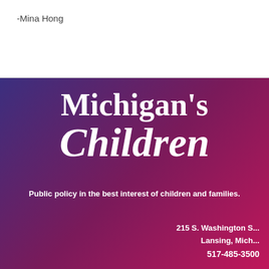-Mina Hong
[Figure (logo): Michigan's Children organization logo with large serif white text reading Michigan's Children on a purple-to-crimson gradient background]
Public policy in the best interest of children and families.
215 S. Washington S...
Lansing, Mich...
517-485-3500